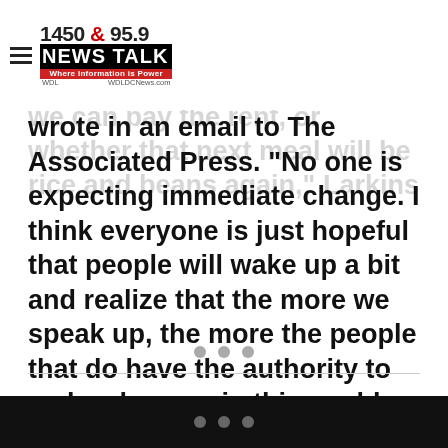1450 & 95.9 NEWS TALK — Where Information is Power — WDL / WDLDCNews.com
“I don’t think we’re asking for much, just to wake up every morning wondering whether we can pay the rent, or whether that next meal will be rice and beans again,” Larkins wrote in an email to The Associated Press. “No one is expecting immediate change. I think everyone is just hopeful that people will wake up a bit and realize that the more we speak up, the more the people that do have the authority to make changes in this world listen.”